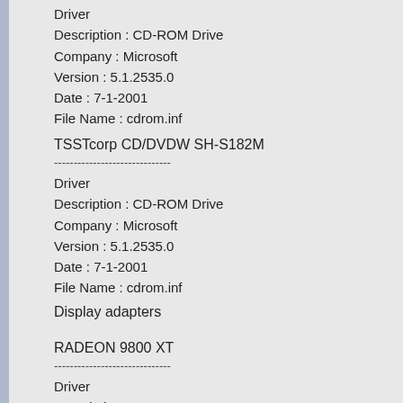Driver
Description : CD-ROM Drive
Company : Microsoft
Version : 5.1.2535.0
Date : 7-1-2001
File Name : cdrom.inf
TSSTcorp CD/DVDW SH-S182M
------------------------------
Driver
Description : CD-ROM Drive
Company : Microsoft
Version : 5.1.2535.0
Date : 7-1-2001
File Name : cdrom.inf
Display adapters
RADEON 9800 XT
------------------------------
Driver
Description : RADEON 9800 XT
Company : ATI Technologies Inc